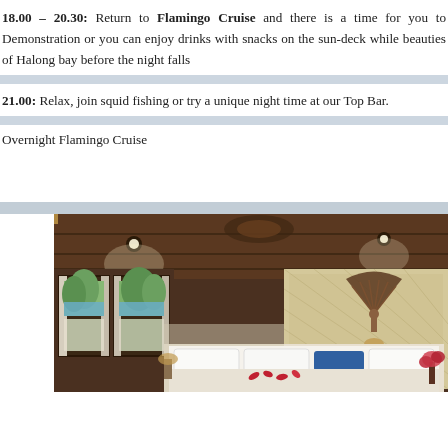18.00 – 20.30: Return to Flamingo Cruise and there is a time for you to Demonstration or you can enjoy drinks with snacks on the sun-deck while beauties of Halong bay before the night falls
21.00: Relax, join squid fishing or try a unique night time at our Top Bar.
Overnight Flamingo Cruise
[Figure (photo): Interior photo of a luxury cabin on Flamingo Cruise ship, showing wooden paneled ceiling with spotlights, large windows with curtains overlooking Halong bay, a decorative fan on the wall, and a bed with white linens, blue and white pillows, and red flower petals.]